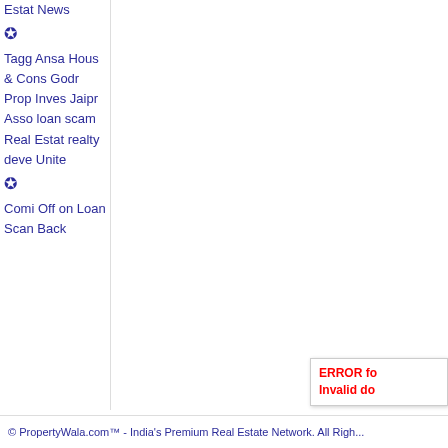Estat News Tagged Ansa Hous & Cons Godr Prop Inves Jaipr Asso loan scam Real Estat realty deve Unite Comi Off on Loan Scan Back
[Figure (other): Error box with red text: ERROR fo Invalid do]
© PropertyWala.com™ - India's Premium Real Estate Network. All Righ...